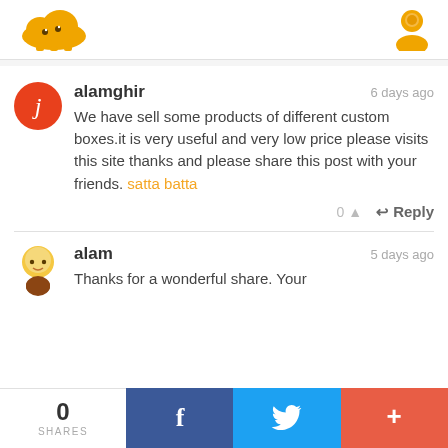[Figure (logo): Orange cloud with eyes logo on left, orange person/user icon on right]
alamghir • 6 days ago
We have sell some products of different custom boxes.it is very useful and very low price please visits this site thanks and please share this post with your friends. satta batta
alam • 5 days ago
Thanks for a wonderful share. Your
0
SHARES